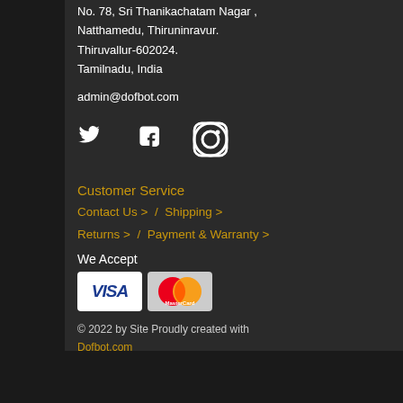No. 78, Sri Thanikachatam Nagar, Natthamedu, Thiruninravur. Thiruvallur-602024. Tamilnadu, India
admin@dofbot.com
[Figure (infographic): Social media icons: Twitter, Facebook, Instagram in white on dark background]
Customer Service
Contact Us >  /  Shipping >
Returns >  /  Payment & Warranty >
We Accept
[Figure (infographic): Payment icons: VISA and MasterCard logos]
© 2022 by Site Proudly created with Dofbot.com